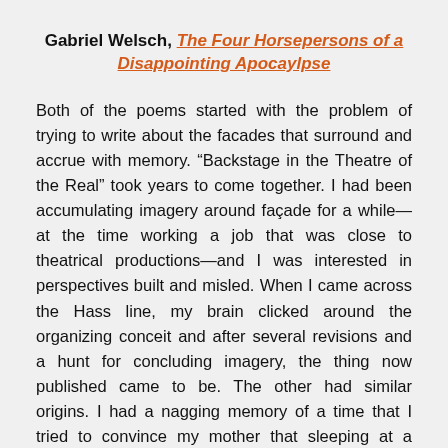Gabriel Welsch, The Four Horsepersons of a Disappointing Apocaylpse
Both of the poems started with the problem of trying to write about the facades that surround and accrue with memory. “Backstage in the Theatre of the Real” took years to come together. I had been accumulating imagery around façade for a while—at the time working a job that was close to theatrical productions—and I was interested in perspectives built and misled. When I came across the Hass line, my brain clicked around the organizing conceit and after several revisions and a hunt for concluding imagery, the thing now published came to be. The other had similar origins. I had a nagging memory of a time that I tried to convince my mother that sleeping at a friend’s house was safe. The boy had a divorced and